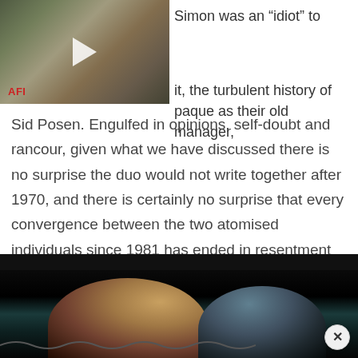[Figure (screenshot): Video thumbnail of a film still with AFI logo in lower left, play button overlay, showing people in an outdoor scene]
Simon was an “idiot” to
it, the turbulent history of paque as their old manager,
Sid Posen. Engulfed in opinions, self-doubt and rancour, given what we have discussed there is no surprise the duo would not write together after 1970, and there is certainly no surprise that every convergence between the two atomised individuals since 1981 has ended in resentment and vitriol.
[Figure (screenshot): Video thumbnail showing two people in profile against a dark background, with a close button (x) in the lower right corner]